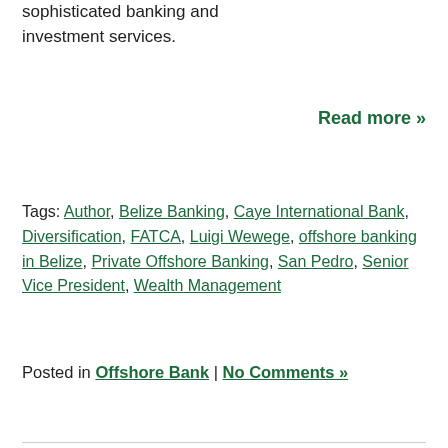sophisticated banking and investment services.
Read more »
Tags: Author, Belize Banking, Caye International Bank, Diversification, FATCA, Luigi Wewege, offshore banking in Belize, Private Offshore Banking, San Pedro, Senior Vice President, Wealth Management
Posted in Offshore Bank | No Comments »